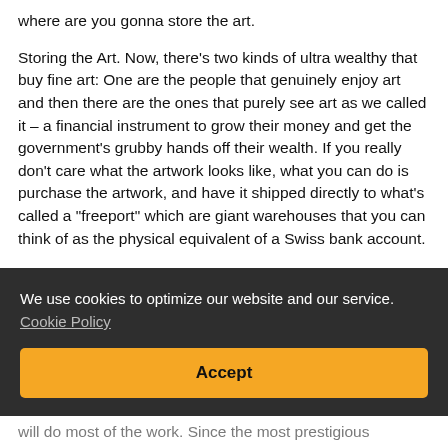where are you gonna store the art.

Storing the Art. Now, there's two kinds of ultra wealthy that buy fine art: One are the people that genuinely enjoy art and then there are the ones that purely see art as we called it – a financial instrument to grow their money and get the government's grubby hands off their wealth. If you really don't care what the artwork looks like, what you can do is purchase the artwork, and have it shipped directly to what's called a "freeport" which are giant warehouses that you can think of as the physical equivalent of a Swiss bank account.
We use cookies to optimize our website and our service.
Cookie Policy
Accept
will do most of the work. Since the most prestigious